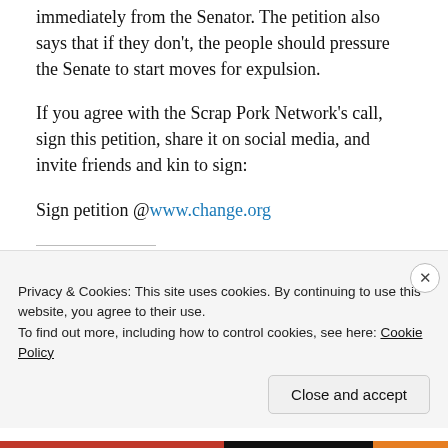immediately from the Senator. The petition also says that if they don't, the people should pressure the Senate to start moves for expulsion.
If you agree with the Scrap Pork Network's call, sign this petition, share it on social media, and invite friends and kin to sign:
Sign petition @www.change.org
Share this:
WhatsApp  Print  Post
Privacy & Cookies: This site uses cookies. By continuing to use this website, you agree to their use. To find out more, including how to control cookies, see here: Cookie Policy
Close and accept